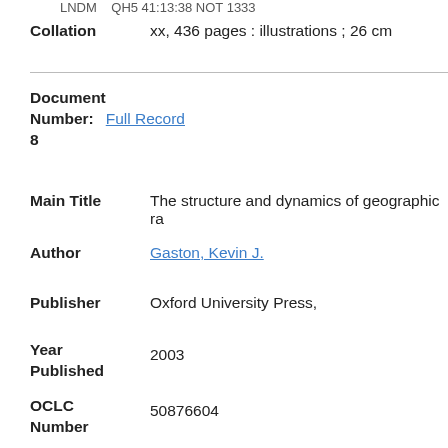LNDM   QH5 41:13:38 NOT 1333
Collation   xx, 436 pages : illustrations ; 26 cm
Document
Number:
8
Full Record
Main Title   The structure and dynamics of geographic ra
Author   Gaston, Kevin J.
Publisher   Oxford University Press,
Year Published   2003
OCLC Number   50876604